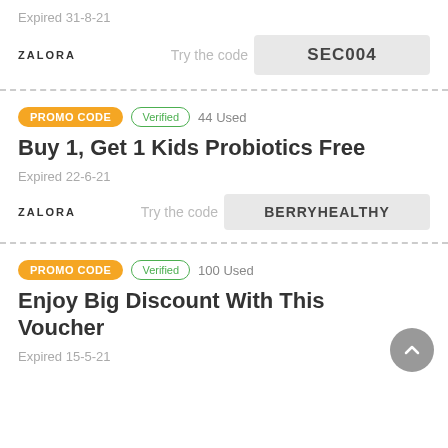Expired 31-8-21
Try the code  SEC004
ZALORA
PROMO CODE  Verified  44 Used
Buy 1, Get 1 Kids Probiotics Free
Expired 22-6-21
Try the code  BERRYHEALTHY
ZALORA
PROMO CODE  Verified  100 Used
Enjoy Big Discount With This Voucher
Expired 15-5-21